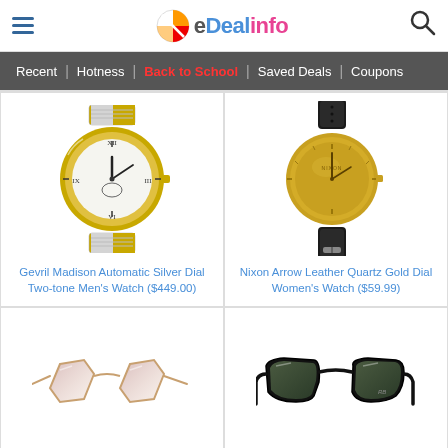eDealinfo — Recent | Hotness | Back to School | Saved Deals | Coupons
[Figure (photo): Gevril Madison Automatic Silver Dial Two-tone Men's Watch]
Gevril Madison Automatic Silver Dial Two-tone Men's Watch ($449.00)
[Figure (photo): Nixon Arrow Leather Quartz Gold Dial Women's Watch]
Nixon Arrow Leather Quartz Gold Dial Women's Watch ($59.99)
[Figure (photo): Rose gold frame hexagonal sunglasses]
[Figure (photo): Black wayfarer style sunglasses (Ray-Ban)]